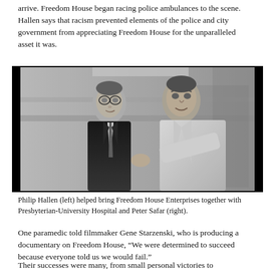arrive. Freedom House began racing police ambulances to the scene. Hallen says that racism prevented elements of the police and city government from appreciating Freedom House for the unparalleled asset it was.
[Figure (photo): Black and white photo of two men in what appears to be a hospital or medical setting. Philip Hallen (left) is wearing a dark suit and tie, the man on the right (Peter Safar) is wearing a white lab coat. They appear to be in conversation.]
Philip Hallen (left) helped bring Freedom House Enterprises together with Presbyterian-University Hospital and Peter Safar (right).
One paramedic told filmmaker Gene Starzenski, who is producing a documentary on Freedom House, “We were determined to succeed because everyone told us we would fail.”
Their successes were many, from small personal victories to individuals discovering how to rally to the sharing of action